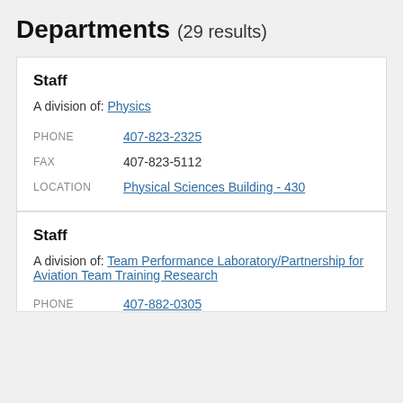Departments (29 results)
Staff
A division of: Physics
PHONE 407-823-2325
FAX 407-823-5112
LOCATION Physical Sciences Building - 430
Staff
A division of: Team Performance Laboratory/Partnership for Aviation Team Training Research
PHONE 407-882-0305